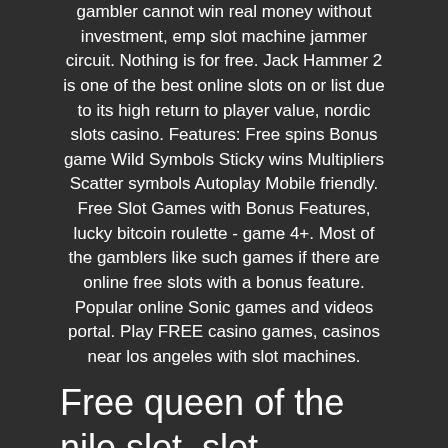gambler cannot win real money without investment, emp slot machine jammer circuit. Nothing is for free. Jack Hammer 2 is one of the best online slots on or list due to its high return to player value, nordic slots casino. Features: Free spins Bonus game Wild Symbols Sticky wins Multipliers Scatter symbols Autoplay Mobile friendly. Free Slot Games with Bonus Features, lucky bitcoin roulette - game 4+. Most of the gamblers like such games if there are online free slots with a bonus feature. Popular online Sonic games and videos portal. Play FREE casino games, casinos near los angeles with slot machines.
Free queen of the nile slot, slot machine finder atlantic city
Our games are intended for adult audiences only. Billionaire casino slots the. THE BEST SLOTS & CASINO GAMES. Read our Terms